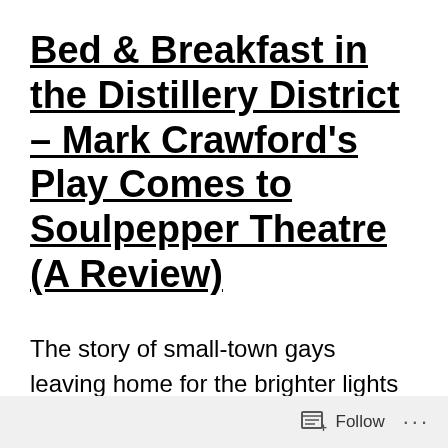Bed & Breakfast in the Distillery District – Mark Crawford's Play Comes to Soulpepper Theatre (A Review)
The story of small-town gays leaving home for the brighter lights and safer havens of the big city streets is a well-known one. Gays have
Follow ···